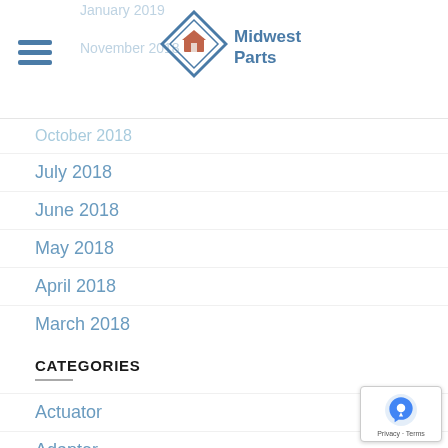[Figure (logo): Midwest Parts logo with diamond/house shape icon in orange and blue, and company name 'Midwest Parts' in blue]
October 2018
July 2018
June 2018
May 2018
April 2018
March 2018
CATEGORIES
Actuator
Adapter
Air Quality
Antiviral Sanitizer